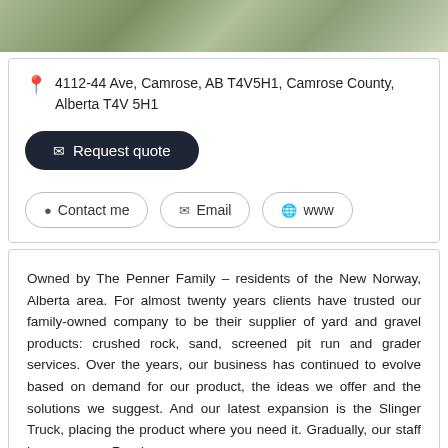[Figure (photo): Outdoor photo showing grass and stone/gravel surface, cropped at the top of the page]
4112-44 Ave, Camrose, AB T4V5H1, Camrose County, Alberta T4V 5H1
Request quote
Contact me
Email
www
Owned by The Penner Family – residents of the New Norway, Alberta area. For almost twenty years clients have trusted our family-owned company to be their supplier of yard and gravel products: crushed rock, sand, screened pit run and grader services. Over the years, our business has continued to evolve based on demand for our product, the ideas we offer and the solutions we suggest. And our latest expansion is the Slinger Truck, placing the product where you need it. Gradually, our staff has grown,.... Read more
SEAL-A-DRIVE